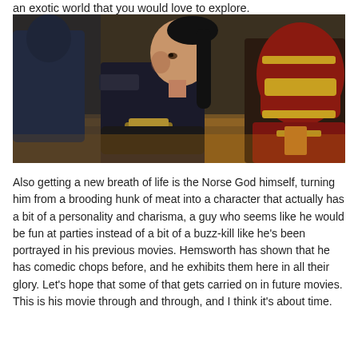an exotic world that you would love to explore.
[Figure (photo): A woman in dark armored costume with long dark hair pulled back, looking over her shoulder, next to a figure in a red and gold armored helmet. Scene from a Marvel movie (Thor: Ragnarok).]
Also getting a new breath of life is the Norse God himself, turning him from a brooding hunk of meat into a character that actually has a bit of a personality and charisma, a guy who seems like he would be fun at parties instead of a bit of a buzz-kill like he’s been portrayed in his previous movies. Hemsworth has shown that he has comedic chops before, and he exhibits them here in all their glory. Let’s hope that some of that gets carried on in future movies. This is his movie through and through, and I think it’s about time.